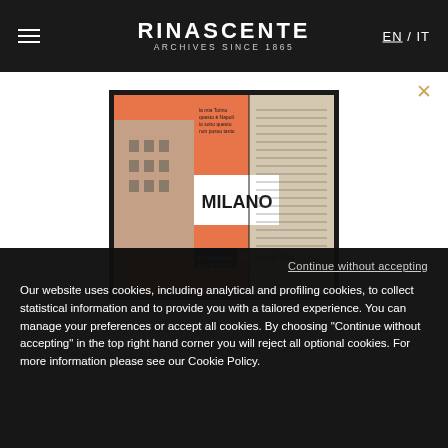RINASCENTE ARCHIVES SINCE 1865 EN / IT
[Figure (photo): Archive image of a MILANO branded book/brochure cover with orange and white design, showing a building illustration and 'la Rinascente tour de Milan' text]
Continue without accepting
Our website uses cookies, including analytical and profiling cookies, to collect statistical information and to provide you with a tailored experience. You can manage your preferences or accept all cookies. By choosing "Continue without accepting" in the top right hand corner you will reject all optional cookies. For more information please see our Cookie Policy.